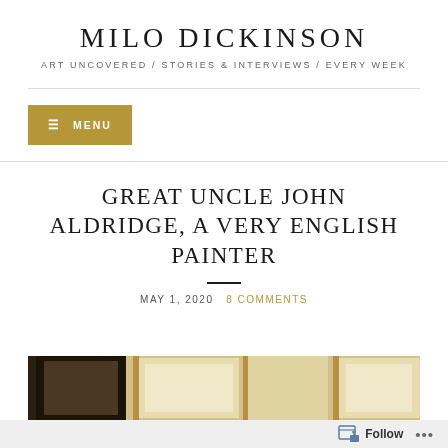MILO DICKINSON
ART UNCOVERED / STORIES & INTERVIEWS / EVERY WEEK
≡ MENU
GREAT UNCLE JOHN ALDRIDGE, A VERY ENGLISH PAINTER
MAY 1, 2020  8 COMMENTS
[Figure (photo): Framed paintings hanging on a wall, partially visible at the bottom of the page]